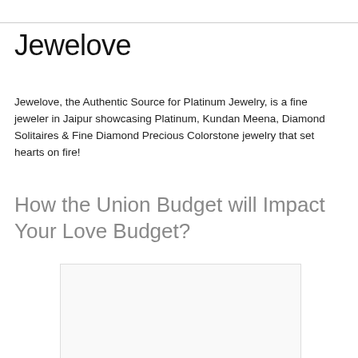Jewelove
Jewelove, the Authentic Source for Platinum Jewelry, is a fine jeweler in Jaipur showcasing Platinum, Kundan Meena, Diamond Solitaires & Fine Diamond Precious Colorstone jewelry that set hearts on fire!
How the Union Budget will Impact Your Love Budget?
[Figure (other): Empty image placeholder box]